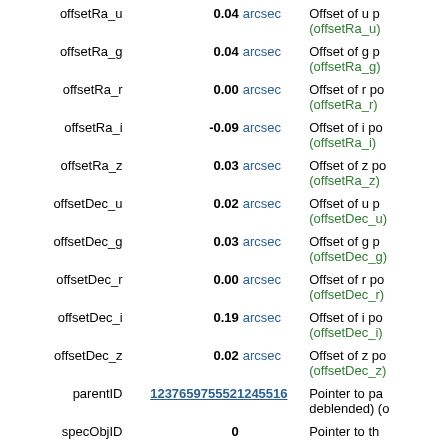| Name | Value | Unit | Description |
| --- | --- | --- | --- |
| offsetRa_u | 0.04 | arcsec | Offset of u p (offsetRa_u) |
| offsetRa_g | 0.04 | arcsec | Offset of g p (offsetRa_g) |
| offsetRa_r | 0.00 | arcsec | Offset of r po (offsetRa_r) |
| offsetRa_i | -0.09 | arcsec | Offset of i po (offsetRa_i) |
| offsetRa_z | 0.03 | arcsec | Offset of z po (offsetRa_z) |
| offsetDec_u | 0.02 | arcsec | Offset of u p (offsetDec_u) |
| offsetDec_g | 0.03 | arcsec | Offset of g p (offsetDec_g) |
| offsetDec_r | 0.00 | arcsec | Offset of r po (offsetDec_r) |
| offsetDec_i | 0.19 | arcsec | Offset of i po (offsetDec_i) |
| offsetDec_z | 0.02 | arcsec | Offset of z po (offsetDec_z) |
| parentID | 1237659755521245516 |  | Pointer to pa deblended) (o |
| specObjID | 0 |  | Pointer to th |